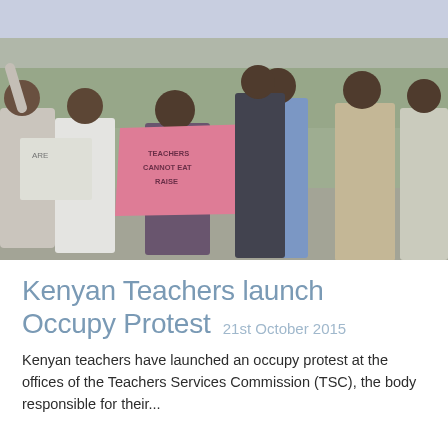[Figure (photo): A group of Kenyan teachers marching in protest on a street. A woman in the center holds a large pink sign reading 'TEACHERS CANNOT EAT RAISE'. Another protester raises their hand. Men in suits walk alongside and behind them. Trees and buildings are visible in the background.]
Kenyan Teachers launch Occupy Protest  21st October 2015
Kenyan teachers have launched an occupy protest at the offices of the Teachers Services Commission (TSC), the body responsible for their...